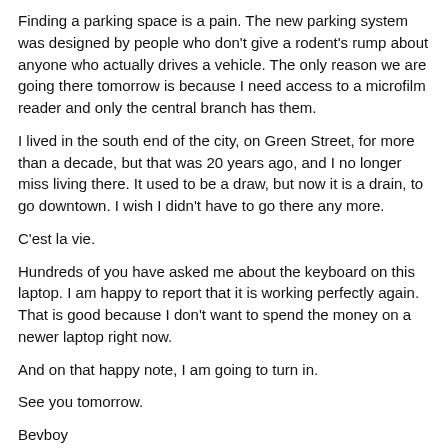Finding a parking space is a pain. The new parking system was designed by people who don't give a rodent's rump about anyone who actually drives a vehicle. The only reason we are going there tomorrow is because I need access to a microfilm reader and only the central branch has them.
I lived in the south end of the city, on Green Street, for more than a decade, but that was 20 years ago, and I no longer miss living there. It used to be a draw, but now it is a drain, to go downtown. I wish I didn't have to go there any more.
C'est la vie.
Hundreds of you have asked me about the keyboard on this laptop. I am happy to report that it is working perfectly again. That is good because I don't want to spend the money on a newer laptop right now.
And on that happy note, I am going to turn in.
See you tomorrow.
Bevboy